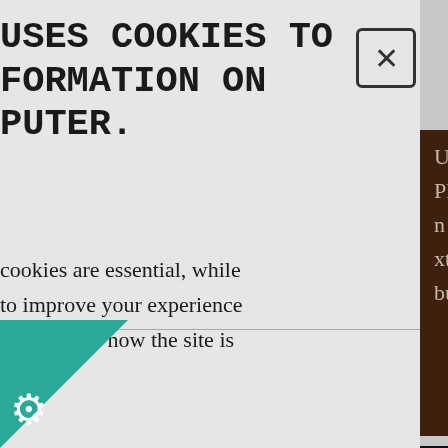USES COOKIES TO
FORMATION ON
PUTER.
cookies are essential, while to improve your experience nsights into how the site is
USA, this product Please allow 7 days n for Nearly xterity game. Players bucks from their side
mmended Settings
ept Cookies
[Figure (screenshot): Cookie consent modal overlay on a website showing truncated cookie notice text, two buttons for recommended settings and accept cookies, a close X button, and a teal/green triangle with gear icon in bottom left. Right side shows a dark brown product description panel and a wooden board photo.]